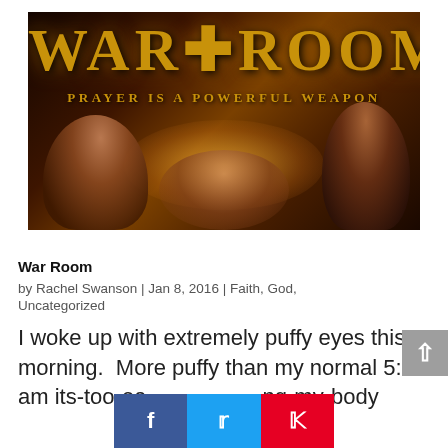[Figure (photo): War Room movie poster showing title 'WAR ROOM' in large gold letters with subtitle 'PRAYER IS A POWERFUL WEAPON' and actors/characters against a dark warm-toned background]
War Room
by Rachel Swanson | Jan 8, 2016 | Faith, God,
Uncategorized
I woke up with extremely puffy eyes this morning.  More puffy than my normal 5:30 am its-too-ea... ng-my-body